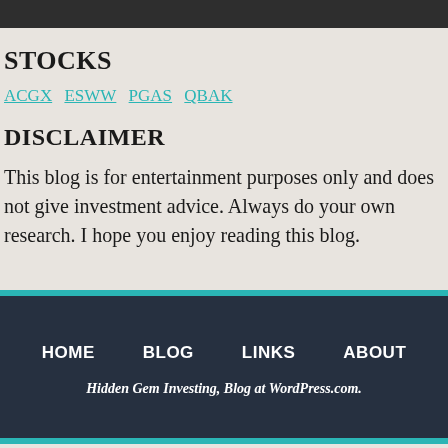STOCKS
ACGX ESWW PGAS QBAK
DISCLAIMER
This blog is for entertainment purposes only and does not give investment advice. Always do your own research. I hope you enjoy reading this blog.
HOME  BLOG  LINKS  ABOUT
Hidden Gem Investing, Blog at WordPress.com.